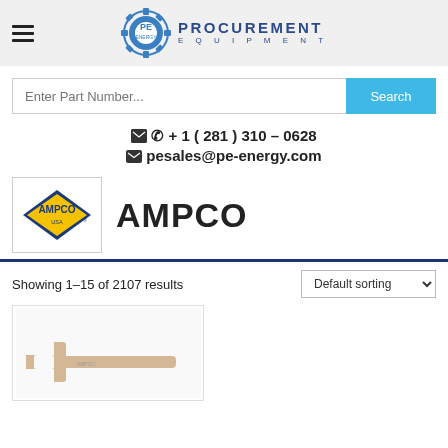Procurement Equipment - PE Energy
Enter Part Number... Search
+ 1 ( 281 ) 310 – 0628
pesales@pe-energy.com
[Figure (logo): AMPCO USA brand logo - diamond shape with AMPCO text in yellow and blue]
AMPCO
Showing 1–15 of 2107 results
[Figure (photo): AMPCO wrench/spanner tool product image on white background]